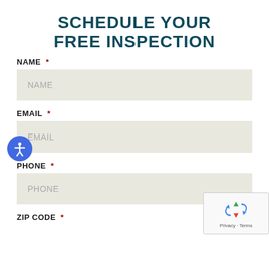SCHEDULE YOUR FREE INSPECTION
NAME *
NAME
EMAIL *
EMAIL
PHONE *
PHONE
ZIP CODE *